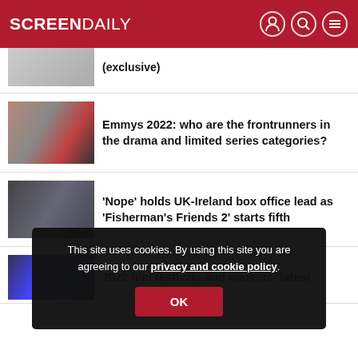SCREEN DAILY
(exclusive)
Emmys 2022: who are the frontrunners in the drama and limited series categories?
'Nope' holds UK-Ireland box office lead as 'Fisherman's Friends 2' starts fifth
This site uses cookies. By using this site you are agreeing to our privacy and cookie policy.
OK
2022 film festivals and markets: latest